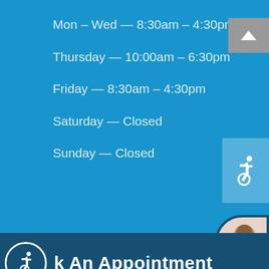Mon – Wed — 8:30am – 4:30pm
Thursday — 10:00am – 6:30pm
Friday — 8:30am – 4:30pm
Saturday — Closed
Sunday — Closed
[Figure (infographic): Wheelchair accessibility icon badge on blue background]
k An Appointment
[Figure (illustration): Wheelchair user icon circle badge]
Copyright © 2020 Garden State Pain Management. All rights reserved
| Privacy Policy | Terms & Conditions
[Figure (infographic): Social media icons row: Facebook, Twitter, YouTube, Instagram]
[Figure (photo): Chat avatar: woman with headset, partially visible]